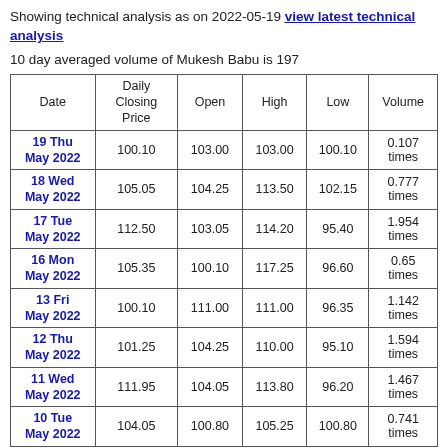Showing technical analysis as on 2022-05-19 view latest technical analysis
10 day averaged volume of Mukesh Babu is 197
| Date | Daily Closing Price | Open | High | Low | Volume |
| --- | --- | --- | --- | --- | --- |
| 19 Thu May 2022 | 100.10 | 103.00 | 103.00 | 100.10 | 0.107 times |
| 18 Wed May 2022 | 105.05 | 104.25 | 113.50 | 102.15 | 0.777 times |
| 17 Tue May 2022 | 112.50 | 103.05 | 114.20 | 95.40 | 1.954 times |
| 16 Mon May 2022 | 105.35 | 100.10 | 117.25 | 96.60 | 0.65 times |
| 13 Fri May 2022 | 100.10 | 111.00 | 111.00 | 96.35 | 1.142 times |
| 12 Thu May 2022 | 101.25 | 104.25 | 110.00 | 95.10 | 1.594 times |
| 11 Wed May 2022 | 111.95 | 104.05 | 113.80 | 96.20 | 1.467 times |
| 10 Tue May 2022 | 104.05 | 100.80 | 105.25 | 100.80 | 0.741 times |